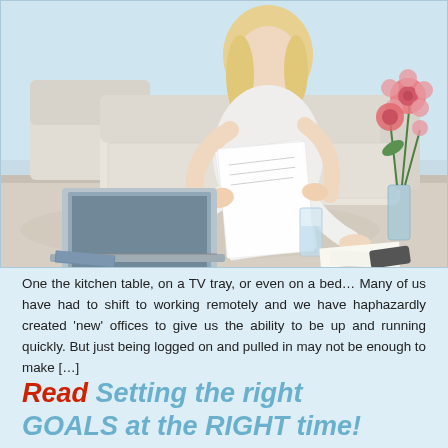[Figure (photo): A blonde woman sitting on the floor in front of a couch, looking at papers, with a laptop open in front of her and a vase of flowers to the right.]
One the kitchen table, on a TV tray, or even on a bed… Many of us have had to shift to working remotely and we have haphazardly created 'new' offices to give us the ability to be up and running quickly. But just being logged on and pulled in may not be enough to make […]
Read Setting the right GOALS at the RIGHT time!